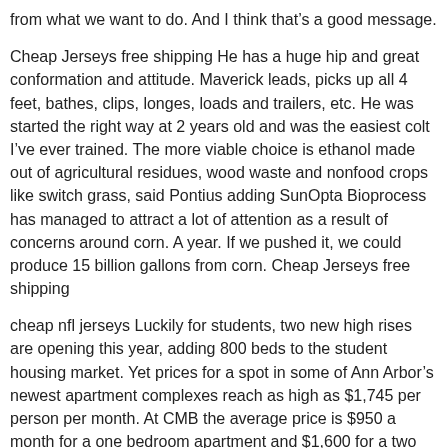from what we want to do. And I think that’s a good message.
Cheap Jerseys free shipping He has a huge hip and great conformation and attitude. Maverick leads, picks up all 4 feet, bathes, clips, longes, loads and trailers, etc. He was started the right way at 2 years old and was the easiest colt I’ve ever trained. The more viable choice is ethanol made out of agricultural residues, wood waste and nonfood crops like switch grass, said Pontius adding SunOpta Bioprocess has managed to attract a lot of attention as a result of concerns around corn. A year. If we pushed it, we could produce 15 billion gallons from corn. Cheap Jerseys free shipping
cheap nfl jerseys Luckily for students, two new high rises are opening this year, adding 800 beds to the student housing market. Yet prices for a spot in some of Ann Arbor’s newest apartment complexes reach as high as $1,745 per person per month. At CMB the average price is $950 a month for a one bedroom apartment and $1,600 for a two bedroom apartment. cheap nfl jerseys